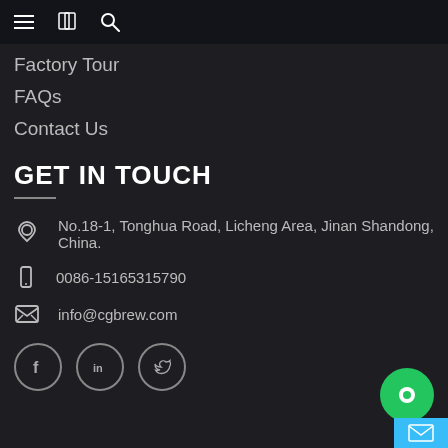Navigation bar with menu, book, and search icons
Factory Tour
FAQs
Contact Us
GET IN TOUCH
No.18-1, Tonghua Road, Licheng Area, Jinan Shandong, China.
0086-15165315790
info@cgbrew.com
[Figure (other): Social media icons: Facebook, LinkedIn, Twitter in circles]